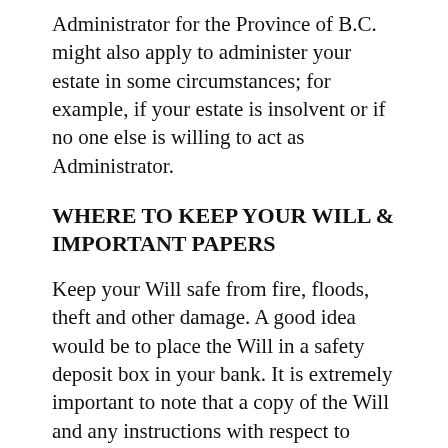Administrator for the Province of B.C. might also apply to administer your estate in some circumstances; for example, if your estate is insolvent or if no one else is willing to act as Administrator.
WHERE TO KEEP YOUR WILL & IMPORTANT PAPERS
Keep your Will safe from fire, floods, theft and other damage. A good idea would be to place the Will in a safety deposit box in your bank. It is extremely important to note that a copy of the Will and any instructions with respect to funeral arrangements be kept in a location other than a safety deposit box that is known to the Executor or family.
Funeral arrangements are often made within 48 hours after a death has occurred. A death does not necessarily happen between the hours of 9:00 a.m. and 5:00 p.m., Monday through Friday.